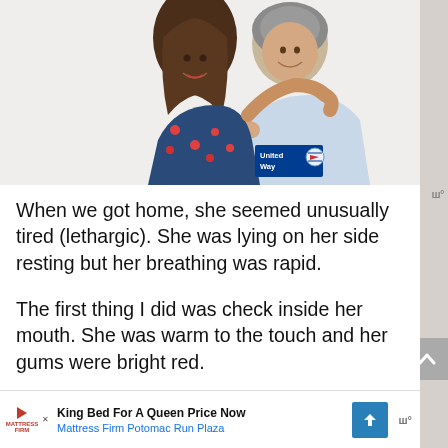[Figure (photo): Two women hugging and smiling — a younger woman with long brown hair wearing a floral blue dress, and an older woman with gray hair wearing a light blue top. A United Way logo badge appears in the lower right corner of the photo.]
When we got home, she seemed unusually tired (lethargic). She was lying on her side resting but her breathing was rapid.
The first thing I did was check inside her mouth. She was warm to the touch and her gums were bright red.
[Figure (screenshot): Advertisement banner: Mattress Firm logo with play arrow icon, text 'King Bed For A Queen Price Now', subtext 'Mattress Firm Potomac Run Plaza', blue navigation arrow icon, and Waze logo.]